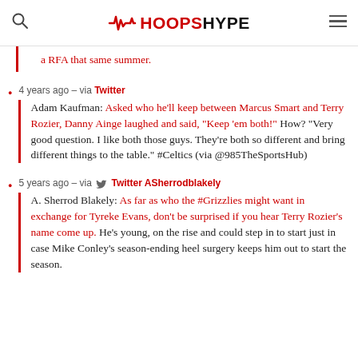HOOPSHYPE
a RFA that same summer.
4 years ago – via Twitter
Adam Kaufman: Asked who he'll keep between Marcus Smart and Terry Rozier, Danny Ainge laughed and said, "Keep 'em both!" How? "Very good question. I like both those guys. They're both so different and bring different things to the table." #Celtics (via @985TheSportsHub)
5 years ago – via Twitter ASherrodblakely
A. Sherrod Blakely: As far as who the #Grizzlies might want in exchange for Tyreke Evans, don't be surprised if you hear Terry Rozier's name come up. He's young, on the rise and could step in to start just in case Mike Conley's season-ending heel surgery keeps him out to start the season.